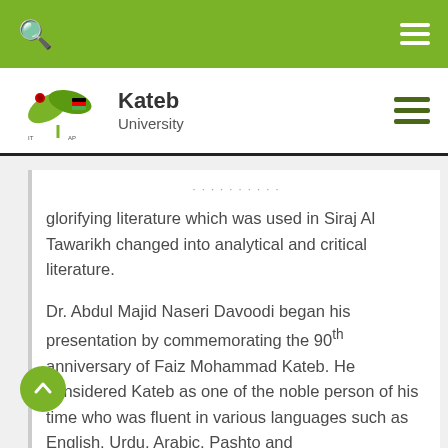Kateb University
glorifying literature which was used in Siraj Al Tawarikh changed into analytical and critical literature.
Dr. Abdul Majid Naseri Davoodi began his presentation by commemorating the 90th anniversary of Faiz Mohammad Kateb. He considered Kateb as one of the noble person of his time who was fluent in various languages such as English, Urdu, Arabic, Pashto and